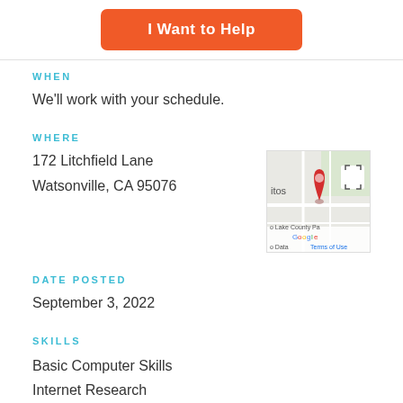I Want to Help
WHEN
We'll work with your schedule.
WHERE
172 Litchfield Lane
Watsonville, CA  95076
[Figure (map): Google map showing location near Watsonville, CA with a red pin marker. Shows partial text: 'itos', 'o Lake County Pa', 'o Data  Terms of Use'. Expand icon visible in top-right.]
DATE POSTED
September 3, 2022
SKILLS
Basic Computer Skills
Internet Research
Salesforce